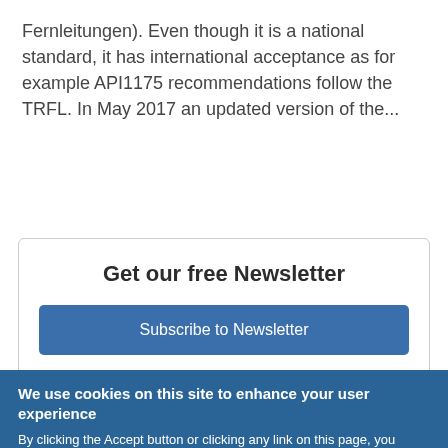Fernleitungen). Even though it is a national standard, it has international acceptance as for example API1175 recommendations follow the TRFL. In May 2017 an updated version of the...
Get our free Newsletter
Subscribe to Newsletter
We use cookies on this site to enhance your user experience
By clicking the Accept button or clicking any link on this page, you agree to us doing so. More info